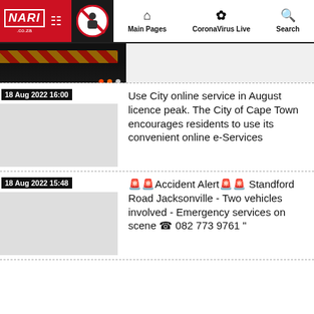NARI .co.za | Main Pages | CoronaVirus Live | Search
[Figure (photo): Dark thumbnail strip showing part of a vehicle with red/yellow markings and indicator lights]
18 Aug 2022 16:00
Use City online service in August licence peak. The City of Cape Town encourages residents to use its convenient online e-Services
18 Aug 2022 15:48
🚨🚨Accident Alert🚨🚨 Standford Road Jacksonville - Two vehicles involved - Emergency services on scene ☎ 082 773 9761 "